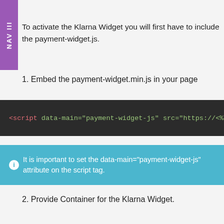To activate the Klarna Widget you will first have to include the payment-widget.js.
1. Embed the payment-widget.min.js in your page
[Figure (screenshot): Code block showing: <script data-main="payment-widget-js" src="https://<%= data-...]
It is important to set the data-main="payment-widget-js" attribute on the script tag.
2. Provide Container for the Klarna Widget.
[Figure (screenshot): Code block showing: <div id="klarna-payments-container"></div>]
3. Retrieve a Widget-Token via a Prepare Call (Prepare-Debit